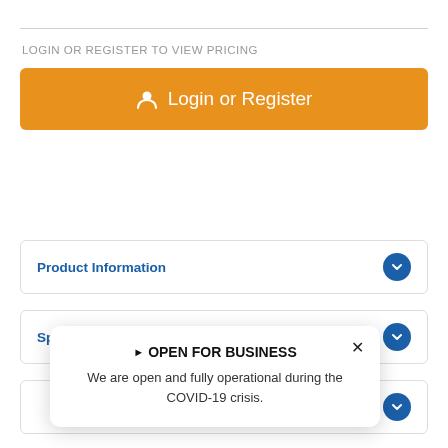LOGIN OR REGISTER TO VIEW PRICING
[Figure (other): Orange button with user icon and text 'Login or Register']
Product Information
Specifications
[Figure (infographic): Popup overlay: triangle arrow OPEN FOR BUSINESS. We are open and fully operational during the COVID-19 crisis.]